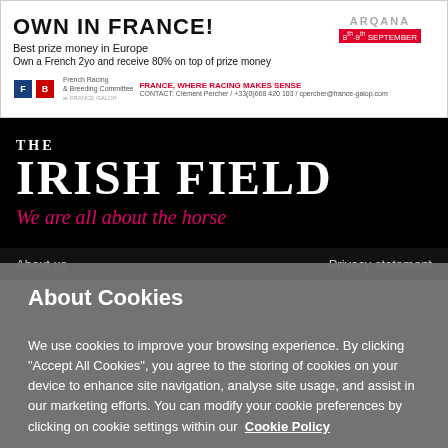[Figure (other): Advertisement banner for French Racing: 'OWN IN FRANCE! Best prize money in Europe. Own a French 2yo and receive 80% on top of prize money. FRANCE, WHERE RACING MAKES SENSE. CONTACT: Clément Percher / +33(0)668 420 103 / cpercher@france-galop.com'. Logos of French Racing & Breeding Committee and Arqana, dates 8th-9th September.]
THE IRISH FIELD
We are all about the horse
About us   Privacy statement
About Cookies
We use cookies to improve your browsing experience. By clicking "Accept All Cookies", you agree to the storing of cookies on your device to enhance site navigation, analyse site usage, and assist in our marketing efforts. You can modify your cookie preferences by clicking on cookie settings within our  Cookie Policy
Cookie Settings
Accept All Cookies